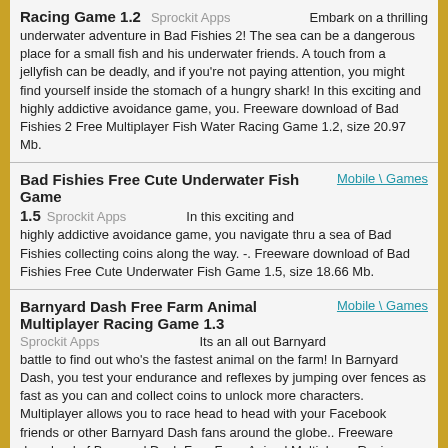Racing Game 1.2   Sprockit Apps   Embark on a thrilling underwater adventure in Bad Fishies 2! The sea can be a dangerous place for a small fish and his underwater friends. A touch from a jellyfish can be deadly, and if you're not paying attention, you might find yourself inside the stomach of a hungry shark! In this exciting and highly addictive avoidance game, you. Freeware download of Bad Fishies 2 Free Multiplayer Fish Water Racing Game 1.2, size 20.97 Mb.
Bad Fishies Free Cute Underwater Fish Game
1.5   Sprockit Apps   In this exciting and highly addictive avoidance game, you navigate thru a sea of Bad Fishies collecting coins along the way. -. Freeware download of Bad Fishies Free Cute Underwater Fish Game 1.5, size 18.66 Mb.
Barnyard Dash Free Farm Animal Multiplayer Racing Game 1.3
Sprockit Apps   Its an all out Barnyard battle to find out who's the fastest animal on the farm! In Barnyard Dash, you test your endurance and reflexes by jumping over fences as fast as you can and collect coins to unlock more characters. Multiplayer allows you to race head to head with your Facebook friends or other Barnyard Dash fans around the globe.. Freeware download of Barnyard Dash Free Farm Animal Multiplayer Racing Game 1.3, size 24.75 Mb.
Christmas Holiday Lottery Scratch Off Tickets - Santa's Free Lotto Scratchers 1.0
Sprockit Apps   Christmas Holiday Lottery Scratch Off Tickets brings you all the fun and excitement of scratching your lottery tickets and winning big money! -. Freeware download of Christmas Holiday Lottery Scratch Off Tickets - Santa's Free Lotto Scratchers 1.0, size 42.15 Mb.